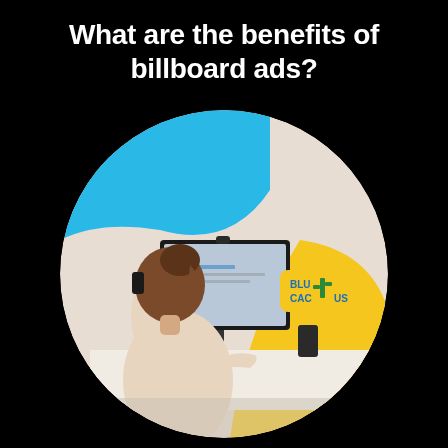What are the benefits of billboard ads?
[Figure (photo): Circular cropped photo of a woman sitting at a desk, seen from behind, talking on a phone while looking at a computer monitor. The circle contains a blue blob shape in the upper-left and a yellow blob shape on the right. A BluCactus logo badge appears in the upper-right of the circle on a yellow background.]